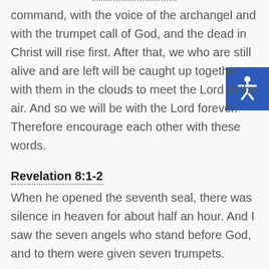command, with the voice of the archangel and with the trumpet call of God, and the dead in Christ will rise first. After that, we who are still alive and are left will be caught up together with them in the clouds to meet the Lord in the air. And so we will be with the Lord forever. Therefore encourage each other with these words.
Revelation 8:1-2
When he opened the seventh seal, there was silence in heaven for about half an hour. And I saw the seven angels who stand before God, and to them were given seven trumpets.
Revelation 10:7
But in the days when the seventh angel is